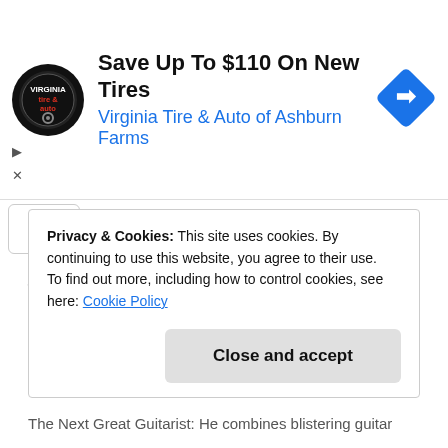[Figure (other): Advertisement banner: Virginia Tire & Auto circular logo, text 'Save Up To $110 On New Tires' and 'Virginia Tire & Auto of Ashburn Farms', blue diamond navigation icon on right]
e dream" had dared him to forge an alliance between his rich, eclectic song writing story telling style which included elements of blues, country, soul and rock with his gumbo approach to guitar and his highly engaging live stage performance. The result? You’ll have to check that out for yourself.
[Figure (photo): Partial photo showing a person against urban background with sky]
Privacy & Cookies: This site uses cookies. By continuing to use this website, you agree to their use.
To find out more, including how to control cookies, see here: Cookie Policy
The Next Great Guitarist: He combines blistering guitar